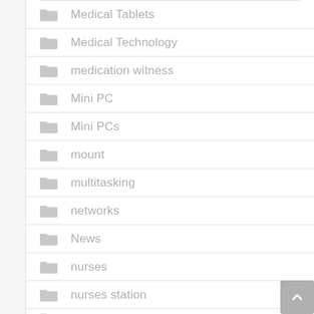Medical Tablets
Medical Technology
medication witness
Mini PC
Mini PCs
mount
multitasking
networks
News
nurses
nurses station
nursing